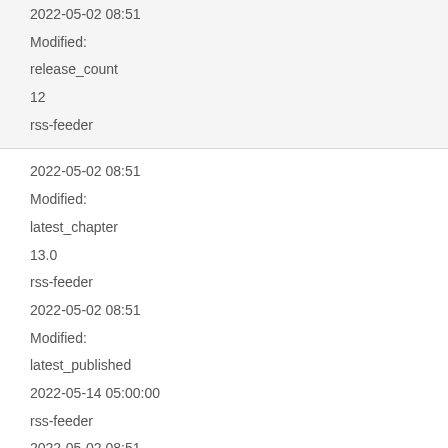2022-05-02 08:51
Modified:
release_count
12
rss-feeder
2022-05-02 08:51
Modified:
latest_chapter
13.0
rss-feeder
2022-05-02 08:51
Modified:
latest_published
2022-05-14 05:00:00
rss-feeder
2022-05-02 08:51
Modified:
release_count
13